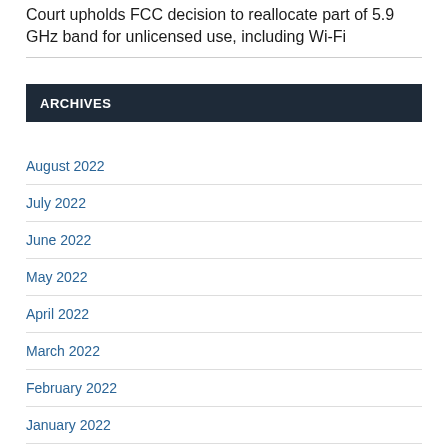Court upholds FCC decision to reallocate part of 5.9 GHz band for unlicensed use, including Wi-Fi
ARCHIVES
August 2022
July 2022
June 2022
May 2022
April 2022
March 2022
February 2022
January 2022
December 2021